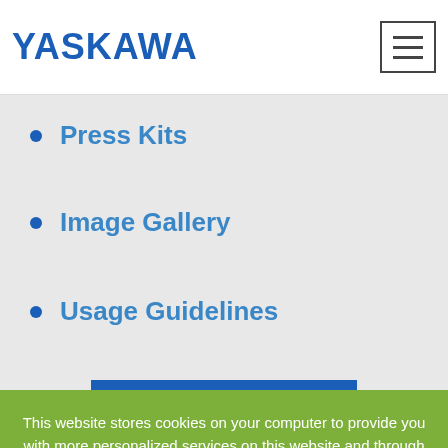YASKAWA
Press Kits
Image Gallery
Usage Guidelines
Contact Us
Yaskawa Store
This website stores cookies on your computer to provide you with more personalized services on this website and through other media.
ACCEPT